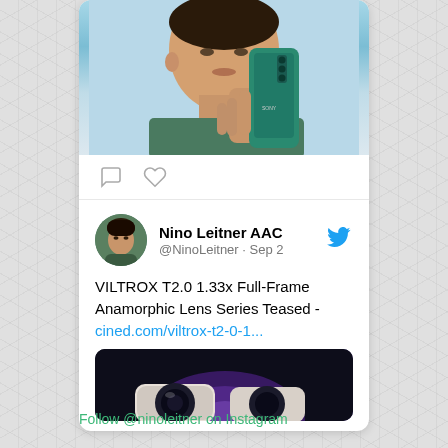[Figure (photo): A person holding a Sony smartphone camera up to their face, viewed from the front, with a teal/blue background]
[Figure (screenshot): Tweet by Nino Leitner AAC (@NinoLeitner · Sep 2) about VILTROX T2.0 1.33x Full-Frame Anamorphic Lens Series Teased with link cined.com/viltrox-t2-0-1... and a dark preview image of lenses]
Follow @ninoleitner on Instagram